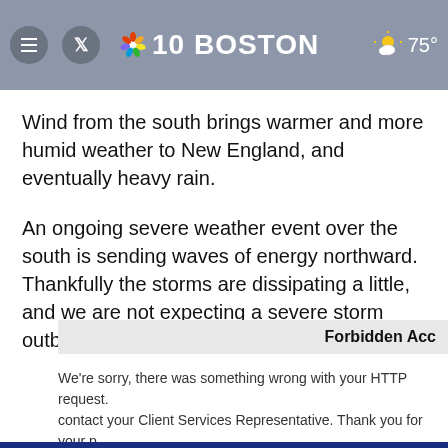NBC 10 BOSTON | 75°
Wind from the south brings warmer and more humid weather to New England, and eventually heavy rain.
An ongoing severe weather event over the south is sending waves of energy northward. Thankfully the storms are dissipating a little, and we are not expecting a severe storm outbreak.
Forbidden Access
We're sorry, there was something wrong with your HTTP request. contact your Client Services Representative. Thank you for your p